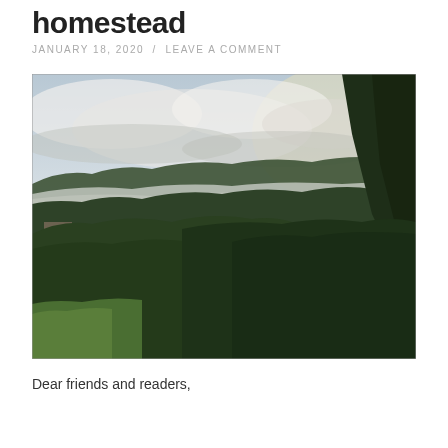homestead
JANUARY 18, 2020  /  LEAVE A COMMENT
[Figure (photo): Outdoor landscape photograph showing green trees and foliage in the foreground, a misty/foggy valley and rolling wooded hills in the middle ground, and a dramatic overcast sky with clouds and light breaking through in the background. A small structure or building is visible on the left side.]
Dear friends and readers,